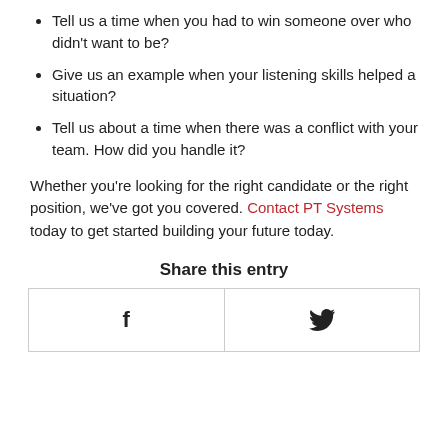Tell us a time when you had to win someone over who didn't want to be?
Give us an example when your listening skills helped a situation?
Tell us about a time when there was a conflict with your team. How did you handle it?
Whether you're looking for the right candidate or the right position, we've got you covered. Contact PT Systems today to get started building your future today.
Share this entry
| f | Twitter bird icon |
| --- | --- |